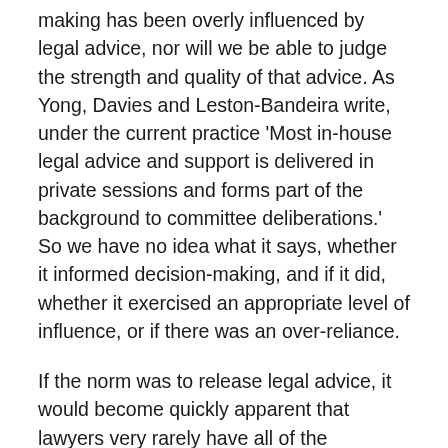making has been overly influenced by legal advice, nor will we be able to judge the strength and quality of that advice. As Yong, Davies and Leston-Bandeira write, under the current practice 'Most in-house legal advice and support is delivered in private sessions and forms part of the background to committee deliberations.' So we have no idea what it says, whether it informed decision-making, and if it did, whether it exercised an appropriate level of influence, or if there was an over-reliance.
If the norm was to release legal advice, it would become quickly apparent that lawyers very rarely have all of the answers. Legal ambiguity emerges even in seemingly settled areas of law. Rather than cementing a perception that legal advice is determinative, if the norm was to release it, this would require parliamentary committees to grapple with this fact, and to explain how the legal position